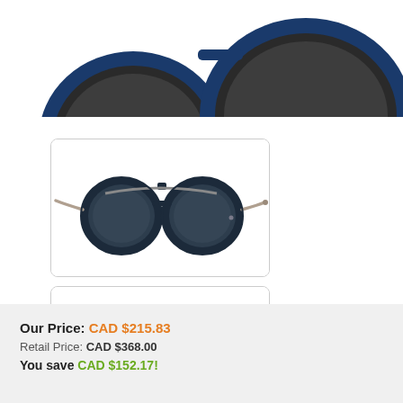[Figure (photo): Top portion of blue-framed round sunglasses, partially cropped at the top of the page]
[Figure (photo): Round dark navy sunglasses with double bridge and silver metal temples, Emporio Armani style, shown in a bordered box]
[Figure (photo): Round dark olive/black sunglasses with double bridge and silver metal temples, green lenses, shown in a bordered box]
Our Price: CAD $215.83
Retail Price: CAD $368.00
You save CAD $152.17!